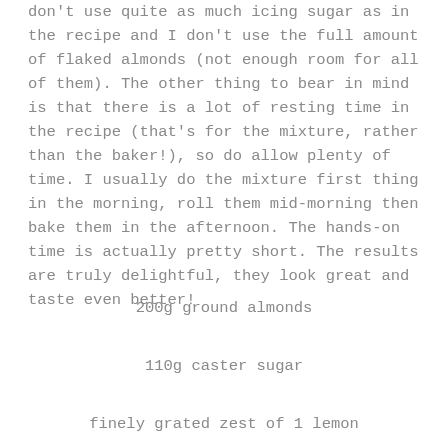don't use quite as much icing sugar as in the recipe and I don't use the full amount of flaked almonds (not enough room for all of them). The other thing to bear in mind is that there is a lot of resting time in the recipe (that's for the mixture, rather than the baker!), so do allow plenty of time. I usually do the mixture first thing in the morning, roll them mid-morning then bake them in the afternoon. The hands-on time is actually pretty short. The results are truly delightful, they look great and taste even better!
200g ground almonds
110g caster sugar
finely grated zest of 1 lemon